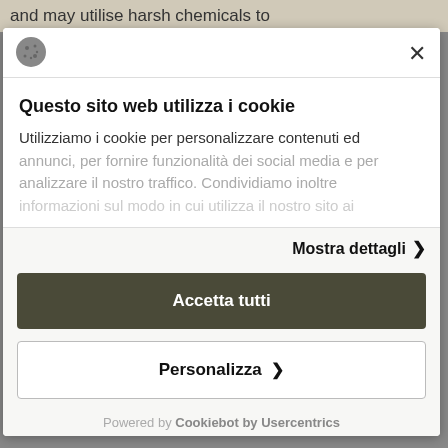and may utilise harsh chemicals to
[Figure (screenshot): Cookie consent modal dialog with logo icon and close button in header]
Questo sito web utilizza i cookie
Utilizziamo i cookie per personalizzare contenuti ed annunci, per fornire funzionalità dei social media e per analizzare il nostro traffico. Condividiamo inoltre
Mostra dettagli >
Accetta tutti
Personalizza >
Powered by Cookiebot by Usercentrics